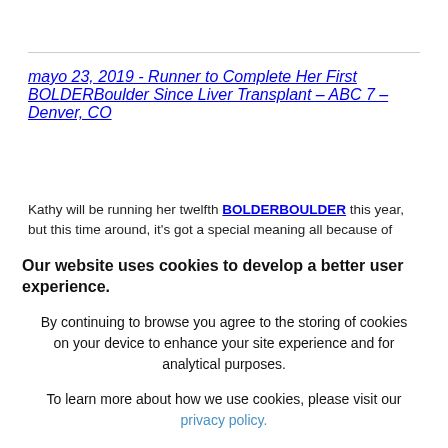mayo 23, 2019 - Runner to Complete Her First BOLDERBoulder Since Liver Transplant – ABC 7 – Denver, CO
Kathy will be running her twelfth BOLDERBOULDER this year, but this time around, it's got a special meaning all because of
Our website uses cookies to develop a better user experience.
By continuing to browse you agree to the storing of cookies on your device to enhance your site experience and for analytical purposes.
To learn more about how we use cookies, please visit our privacy policy.
Cerrar  Read More